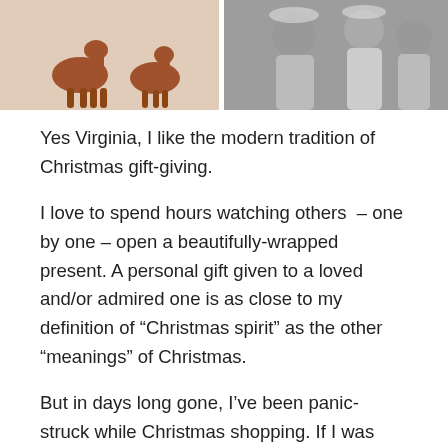[Figure (photo): Two fawn deer figurines on a white snowy background (left image) and a black-and-white photo of people in winter/Christmas attire (right image)]
Yes Virginia, I like the modern tradition of Christmas gift-giving.
I love to spend hours watching others  – one by one – open a beautifully-wrapped present. A personal gift given to a loved and/or admired one is as close to my definition of “Christmas spirit” as the other “meanings” of Christmas.
But in days long gone, I’ve been panic-struck while Christmas shopping. If I was migraine-prone, I would have OD’d on opioids from the tension I layered over me like a searing winter duvet.
I can remember years where I drove the streets of my birth-city like a crazy man, battling snowstorms, madly